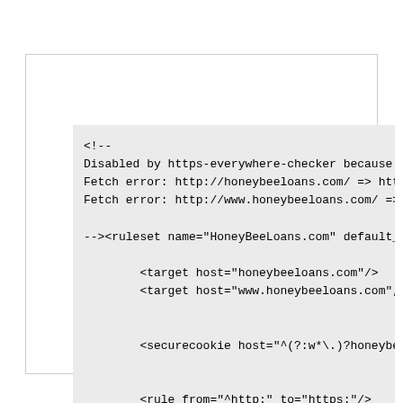<!--
Disabled by https-everywhere-checker because
Fetch error: http://honeybeeloans.com/ => htt
Fetch error: http://www.honeybeeloans.com/ =>

--><ruleset name="HoneyBeeLoans.com" default_

        <target host="honeybeeloans.com"/>
        <target host="www.honeybeeloans.com",


        <securecookie host="^(?:w*\.)?honeybe


        <rule from="^http:" to="https:"/>

</ruleset>